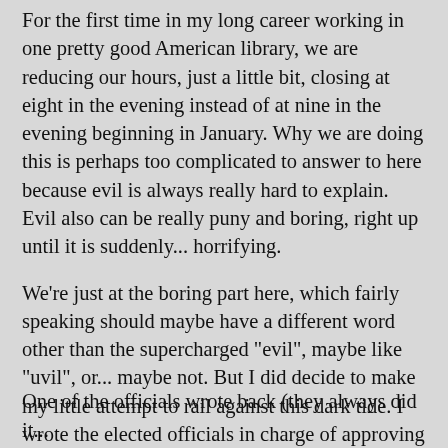For the first time in my long career working in one pretty good American library, we are reducing our hours, just a little bit, closing at eight in the evening instead of at nine in the evening beginning in January. Why we are doing this is perhaps too complicated to answer to here because evil is always really hard to explain. Evil also can be really puny and boring, right up until it is suddenly... horrifying.
We're just at the boring part here, which fairly speaking should maybe have a different word other than the supercharged "evil", maybe like "uvil", or... maybe not. But I did decide to make my little attempt to rail against this dark tide. I wrote the elected officials in charge of approving this reduction in library services.
I said:
Please don't be uvil and reduce the library hours.
One of the officials wrote back (they always did it...